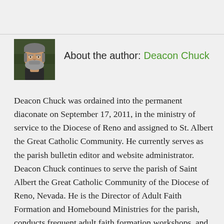[Figure (photo): Headshot photo of Deacon Chuck, a middle-aged man with gray beard and hair, shown from shoulders up against a dark outdoor background.]
About the author: Deacon Chuck
Deacon Chuck was ordained into the permanent diaconate on September 17, 2011, in the ministry of service to the Diocese of Reno and assigned to St. Albert the Great Catholic Community. He currently serves as the parish bulletin editor and website administrator. Deacon Chuck continues to serve the parish of Saint Albert the Great Catholic Community of the Diocese of Reno, Nevada. He is the Director of Adult Faith Formation and Homebound Ministries for the parish, conducts frequent adult faith formation workshops, and is a regular homilist. He currently serves as the bulletin editor for the parish bulletin. He writes a weekly column intended to encompass a broad landscape of thoughts and ideas on matters of